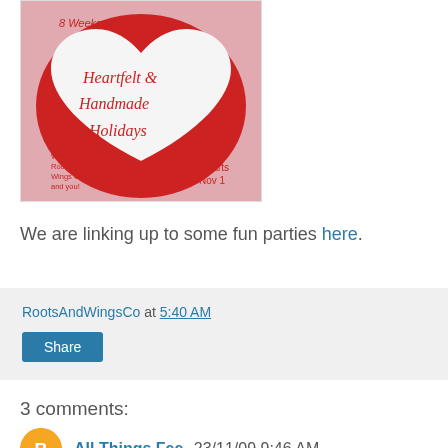[Figure (illustration): 8 Weeks of Heartfelt & Handmade Holidays promotional image featuring a white felt heart on a red background with cursive text. With the Roots & Wings Co girls and you! Starts Nov 1]
We are linking up to some fun parties here.
RootsAndWingsCo at 5:40 AM
Share
3 comments:
All Things Fee 23/11/09 9:46 AM